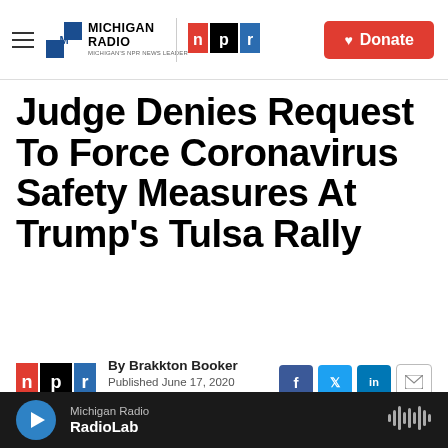Michigan Radio | NPR — Michigan's NPR News Leader | Donate
Judge Denies Request To Force Coronavirus Safety Measures At Trump's Tulsa Rally
By Brakkton Booker
Published June 17, 2020 at 11:37 AM EDT
[Figure (screenshot): Partial image strip at bottom of article with numbers visible]
Michigan Radio — RadioLab (audio player)